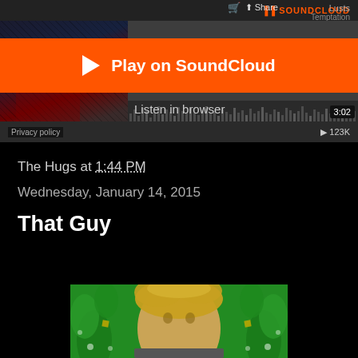[Figure (screenshot): SoundCloud embedded player widget showing 'Play on SoundCloud' orange overlay button, 'Listen in browser' text, track duration 3:02, album art with dark moody image, track info showing 'Lusts' and 'Temptation', play count 123K, Privacy policy link, Share button]
The Hugs at 1:44 PM
Wednesday, January 14, 2015
That Guy
[Figure (photo): Photo of a young man with messy blonde hair against a green decorative background with flower/bubble patterns]